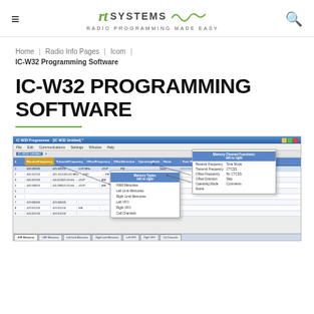≡  RT SYSTEMS — RADIO PROGRAMMING MADE EASY  🔍
Home | Radio Info Pages | Icom | IC-W32 Programming Software
IC-W32 PROGRAMMING SOFTWARE
[Figure (screenshot): Screenshot of IC-W32 Programmer software showing a Windows application with a frequency programming grid. Two popup menus are visible: one labeled 'Memory Types: left to right' listing HAM Memories, Left Limit Memories, Right Limit Memories, Left VFO, Right VFO, Call Channels; and another labeled 'Memory Channel Functions: left to right' with fields Receive Frequency, Tone Mode, Transmit Frequency, CTCSS, Offset Frequency, Rx CTCSS, Offset Direction, Skip, Operating Mode, Comments, Name. Arrows point from the grid headers to the popup menus.]